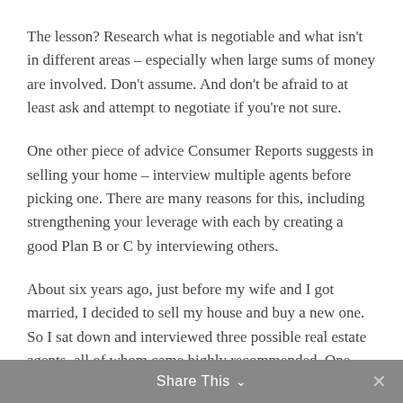The lesson? Research what is negotiable and what isn't in different areas – especially when large sums of money are involved. Don't assume. And don't be afraid to at least ask and attempt to negotiate if you're not sure.
One other piece of advice Consumer Reports suggests in selling your home – interview multiple agents before picking one. There are many reasons for this, including strengthening your leverage with each by creating a good Plan B or C by interviewing others.
About six years ago, just before my wife and I got married, I decided to sell my house and buy a new one. So I sat down and interviewed three possible real estate agents, all of whom came highly recommended. One was not a good fit personality-wise, but two were pretty good.
Share This ∨  ✕